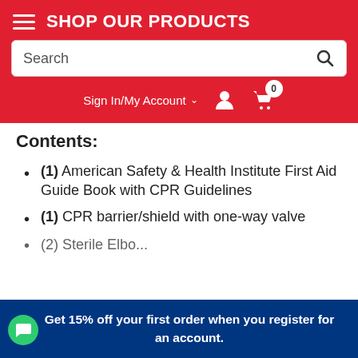SHOP OUR PRODUCTS
Contents:
(1) American Safety & Health Institute First Aid Guide Book with CPR Guidelines
(1) CPR barrier/shield with one-way valve
(2) Sterile Elbow...
Get 15% off your first order when you register for an account.